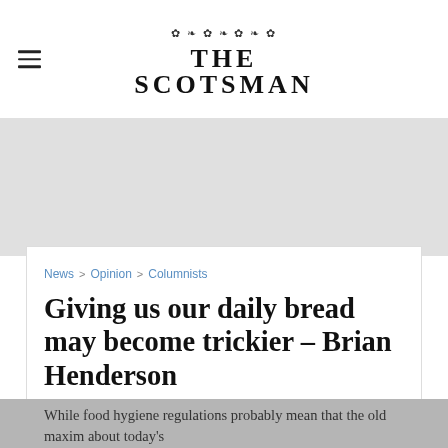THE SCOTSMAN
[Figure (other): Advertisement banner placeholder, light gray background]
News > Opinion > Columnists
Giving us our daily bread may become trickier - Brian Henderson
While food hygiene regulations probably mean that the old maxim about today's